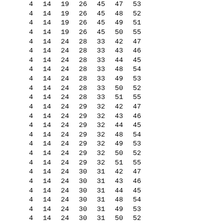| 4 | 14 | 19 | 26 | 45 | 47 | 53 |
| 4 | 14 | 19 | 26 | 45 | 48 | 52 |
| 4 | 14 | 19 | 26 | 45 | 49 | 51 |
| 4 | 14 | 19 | 26 | 45 | 50 | 55 |
| 4 | 14 | 24 | 28 | 33 | 42 | 47 |
| 4 | 14 | 24 | 28 | 33 | 43 | 46 |
| 4 | 14 | 24 | 28 | 33 | 44 | 45 |
| 4 | 14 | 24 | 28 | 33 | 48 | 54 |
| 4 | 14 | 24 | 28 | 33 | 49 | 53 |
| 4 | 14 | 24 | 28 | 33 | 50 | 52 |
| 4 | 14 | 24 | 28 | 33 | 51 | 55 |
| 4 | 14 | 24 | 29 | 32 | 42 | 47 |
| 4 | 14 | 24 | 29 | 32 | 43 | 46 |
| 4 | 14 | 24 | 29 | 32 | 44 | 45 |
| 4 | 14 | 24 | 29 | 32 | 48 | 54 |
| 4 | 14 | 24 | 29 | 32 | 49 | 53 |
| 4 | 14 | 24 | 29 | 32 | 50 | 52 |
| 4 | 14 | 24 | 29 | 32 | 51 | 55 |
| 4 | 14 | 24 | 30 | 31 | 42 | 47 |
| 4 | 14 | 24 | 30 | 31 | 43 | 46 |
| 4 | 14 | 24 | 30 | 31 | 44 | 45 |
| 4 | 14 | 24 | 30 | 31 | 48 | 54 |
| 4 | 14 | 24 | 30 | 31 | 49 | 53 |
| 4 | 14 | 24 | 30 | 31 | 50 | 52 |
| 4 | 14 | 24 | 30 | 31 | 51 | 55 |
| 4 | 14 | 24 | 34 | 40 | 42 | 47 |
| 4 | 14 | 24 | 34 | 40 | 43 | 46 |
| 4 | 14 | 24 | 34 | 40 | 44 | 45 |
| 4 | 14 | 24 | 34 | 40 | 48 | 54 |
| 4 | 14 | 24 | 34 | 40 | 49 | 53 |